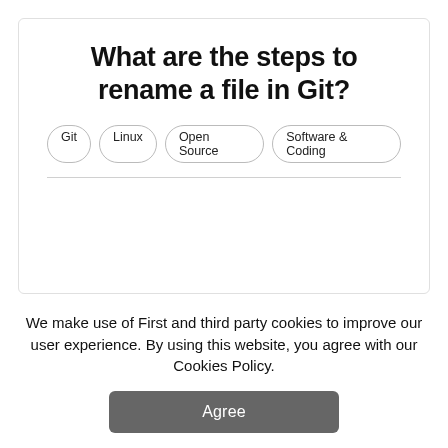What are the steps to rename a file in Git?
Git
Linux
Open Source
Software & Coding
We make use of First and third party cookies to improve our user experience. By using this website, you agree with our Cookies Policy.
Agree
[Figure (other): Advertisement banner for BitLife - Life Simulator app with Install! link]